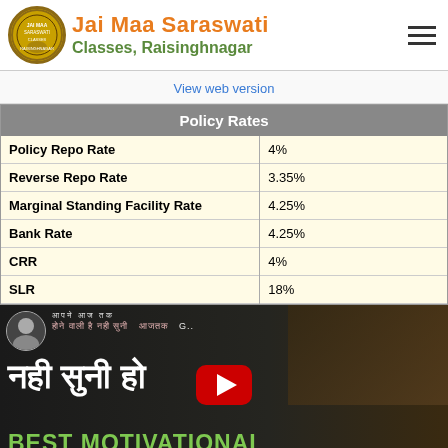Jai Maa Saraswati Classes, Raisinghnagar
View web version
| Policy Rates |  |
| --- | --- |
| Policy Repo Rate | 4% |
| Reverse Repo Rate | 3.35% |
| Marginal Standing Facility Rate | 4.25% |
| Bank Rate | 4.25% |
| CRR | 4% |
| SLR | 18% |
[Figure (screenshot): YouTube video thumbnail with Hindi text 'नही सुनी होगी' and 'BEST MOTIVATIONAL' text on dark background with red play button]
[Figure (screenshot): YouTube video thumbnail preview for 'How to stay Motivated in your Career? By Sandee...' with presenter avatar]